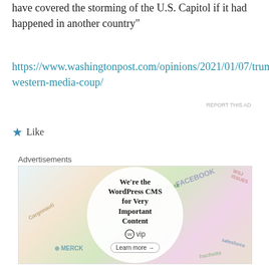have covered the storming of the U.S. Capitol if it had happened in another country"
https://www.washingtonpost.com/opinions/2021/01/07/trump-western-media-coup/
★ Like
Advertisements
[Figure (infographic): WordPress VIP advertisement showing a circular white overlay on a colorful background with various brand logos (Meta, Facebook, Cargonaut, Merck, Hachette, Salesforce, WSJ Issues). The circle contains bold text: 'We're the WordPress CMS for Very Important Content' with WordPress VIP logo and a 'Learn more →' button.]
REPORT THIS AD